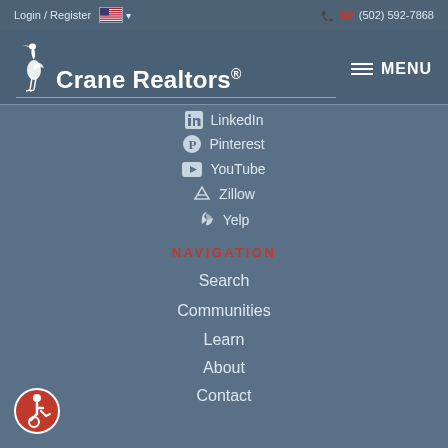Login / Register  🇺🇸 ▾   (502) 592-7868
Crane Realtors®
LinkedIn
Pinterest
YouTube
Zillow
Yelp
NAVIGATION
Search
Communities
Learn
About
Contact